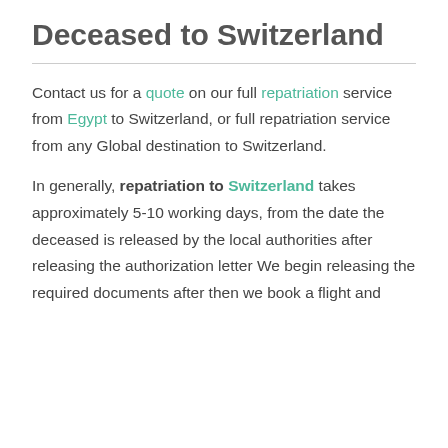Deceased to Switzerland
Contact us for a quote on our full repatriation service from Egypt to Switzerland, or full repatriation service from any Global destination to Switzerland.
In generally, repatriation to Switzerland takes approximately 5-10 working days, from the date the deceased is released by the local authorities after releasing the authorization letter We begin releasing the required documents after then we book a flight and